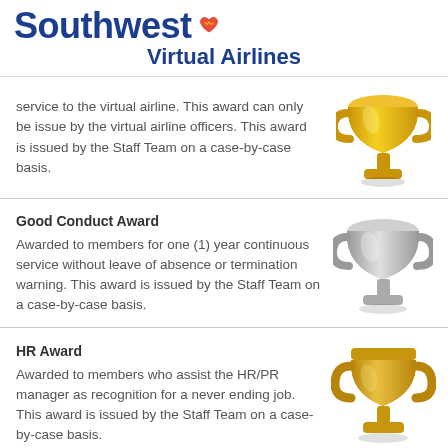Southwest Virtual Airlines
service to the virtual airline. This award can only be issue by the virtual airline officers. This award is issued by the Staff Team on a case-by-case basis.
Good Conduct Award
Awarded to members for one (1) year continuous service without leave of absence or termination warning. This award is issued by the Staff Team on a case-by-case basis.
HR Award
Awarded to members who assist the HR/PR manager as recognition for a never ending job. This award is issued by the Staff Team on a case-by-case basis.